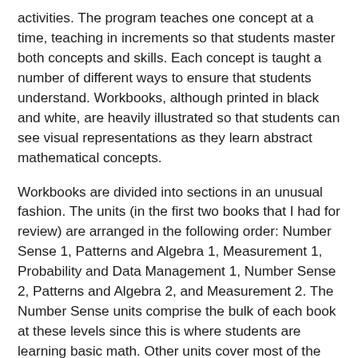activities. The program teaches one concept at a time, teaching in increments so that students master both concepts and skills. Each concept is taught a number of different ways to ensure that students understand. Workbooks, although printed in black and white, are heavily illustrated so that students can see visual representations as they learn abstract mathematical concepts.
Workbooks are divided into sections in an unusual fashion. The units (in the first two books that I had for review) are arranged in the following order: Number Sense 1, Patterns and Algebra 1, Measurement 1, Probability and Data Management 1, Number Sense 2, Patterns and Algebra 2, and Measurement 2. The Number Sense units comprise the bulk of each book at these levels since this is where students are learning basic math. Other units cover most of the other topics generally taught to meet the Common Core Standards in the U.S. (Geometry is missing which is fairly irrelevant in the early grades, and subtraction moves a little slower than in the Standards.) JUMP Math is a Canadian program, so money lessons deal with Canadian money rather than U.S., and you might spot the